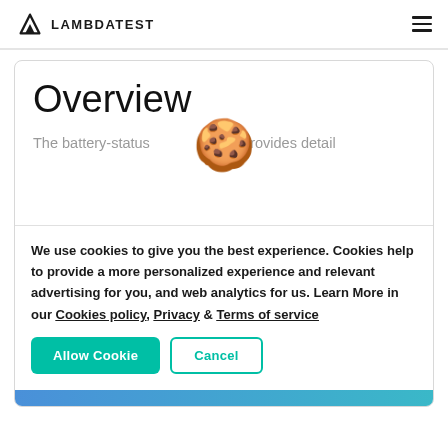LAMBDATEST
Overview
The battery-status method provides detail
[Figure (illustration): Cookie emoji (🍪) overlaid on the page content]
We use cookies to give you the best experience. Cookies help to provide a more personalized experience and relevant advertising for you, and web analytics for us. Learn More in our Cookies policy, Privacy & Terms of service
Allow Cookie   Cancel